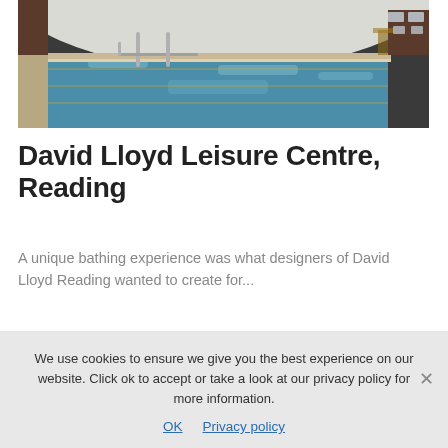[Figure (photo): Indoor swimming pool with steel handrails in the foreground, blue water, tiled deck, and a vaulted white ceiling with structural arches. Dark brick walls visible in background.]
David Lloyd Leisure Centre, Reading
A unique bathing experience was what designers of David Lloyd Reading wanted to create for...
[Figure (photo): Partial view of an outdoor structure against a blue sky — appears to show architectural elements in blue.]
We use cookies to ensure we give you the best experience on our website. Click ok to accept or take a look at our privacy policy for more information.
OK   Privacy policy